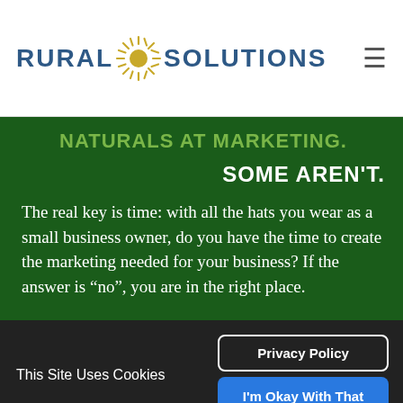RURAL SOLUTIONS
NATURALS AT MARKETING.
SOME AREN'T.
The real key is time: with all the hats you wear as a small business owner, do you have the time to create the marketing needed for your business? If the answer is “no”, you are in the right place.
This Site Uses Cookies
Privacy Policy
I'm Okay With That